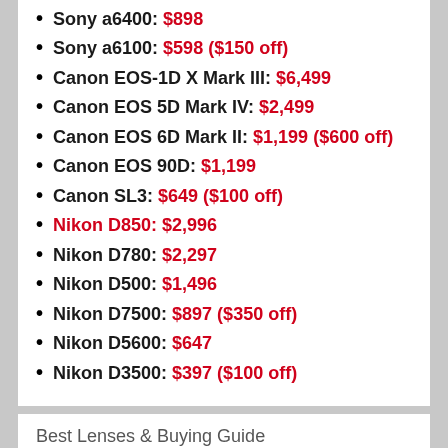Sony a6400: $898
Sony a6100: $598 ($150 off)
Canon EOS-1D X Mark III: $6,499
Canon EOS 5D Mark IV: $2,499
Canon EOS 6D Mark II: $1,199 ($600 off)
Canon EOS 90D: $1,199
Canon SL3: $649 ($100 off)
Nikon D850: $2,996
Nikon D780: $2,297
Nikon D500: $1,496
Nikon D7500: $897 ($350 off)
Nikon D5600: $647
Nikon D3500: $397 ($100 off)
Best Lenses & Buying Guide